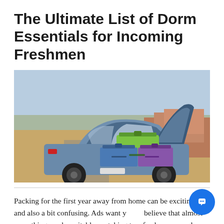The Ultimate List of Dorm Essentials for Incoming Freshmen
[Figure (photo): Rear view of a silver car with open trunk packed with colorful luggage — green, blue, and purple suitcases — parked on a rural road with dry grass and rocky hills in the background under a clear sky.]
Packing for the first year away from home can be exciting – and also a bit confusing. Ads want you to believe that almost everything can be suitable for taking to a freshman year dorm room. In reality,